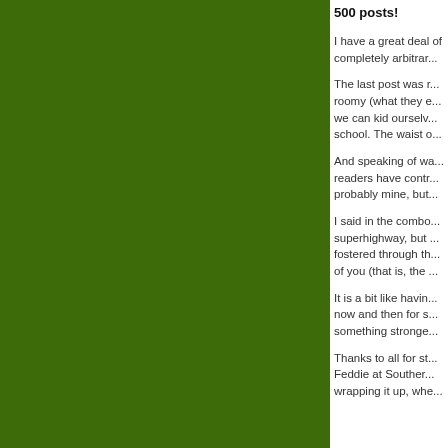[Figure (photo): Large dark olive/forest green rectangle occupying the left portion of the page]
500 posts!
I have a great deal of completely arbitrar...
The last post was r... roomy (what they e... we can kid ourselv... school. The waist o...
And speaking of wa... readers have contr... probably mine, but...
I said in the combo... superhighway, but ... fostered through th... of you (that is, the ...
It is a bit like havin... now and then for s... something stronge...
Thanks to all for st... Feddie at Souther... wrapping it up, whe...